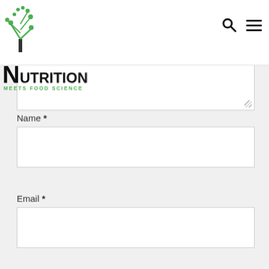Nutrition Meets Food Science
Name *
Email *
Website
[Figure (other): reCAPTCHA widget with checkbox labeled I'm not a robot and reCAPTCHA logo with Privacy and Terms links]